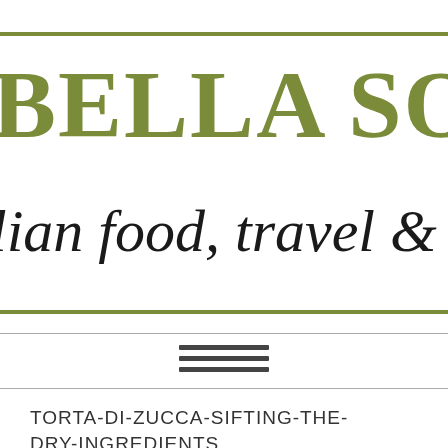BELLA SORELLA
Italian food, travel & lifestyle
[Figure (other): Hamburger menu icon — three horizontal dark gray lines]
TORTA-DI-ZUCCA-SIFTING-THE-DRY-INGREDIENTS